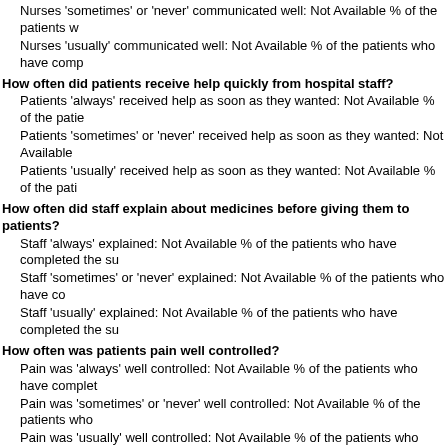Nurses 'sometimes' or 'never' communicated well: Not Available % of the patients w...
Nurses 'usually' communicated well: Not Available % of the patients who have comp...
How often did patients receive help quickly from hospital staff?
Patients 'always' received help as soon as they wanted: Not Available % of the patie...
Patients 'sometimes' or 'never' received help as soon as they wanted: Not Available...
Patients 'usually' received help as soon as they wanted: Not Available % of the pati...
How often did staff explain about medicines before giving them to patients?
Staff 'always' explained: Not Available % of the patients who have completed the su...
Staff 'sometimes' or 'never' explained: Not Available % of the patients who have co...
Staff 'usually' explained: Not Available % of the patients who have completed the su...
How often was patients pain well controlled?
Pain was 'always' well controlled: Not Available % of the patients who have complet...
Pain was 'sometimes' or 'never' well controlled: Not Available % of the patients who...
Pain was 'usually' well controlled: Not Available % of the patients who have complet...
How often was the area around patients rooms kept quiet at night?
'Always' quiet at night: Not Available % of the patients who have completed the surv...
'Sometimes' or 'never' quiet at night: Not Available % of the patients who have comp...
'Usually' quiet at night: Not Available % of the patients who have completed the surv...
How often were the patients rooms and bathrooms kept clean?
Room was 'always' clean: Not Available % of the patients who have completed the s...
Room was 'sometimes' or 'never' clean: Not Available % of the patients who have c...
Room was 'usually' clean: Not Available % of the patients who have completed the s...
Were patients given information about what to do during their recovery at home?
No, staff 'did not' give patients this information: Not Available % of the patients who...
Yes, staff 'did' give patients this information: Not Available % of the patients who hav...
Would patients recommend the hospital to friends and family?